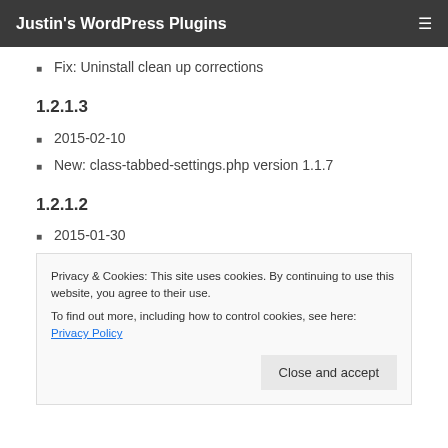Justin's WordPress Plugins
Fix: Uninstall clean up corrections
1.2.1.3
2015-02-10
New: class-tabbed-settings.php version 1.1.7
1.2.1.2
2015-01-30
New: Different Capability requirements added to setting page tabs ( e.g. “Suggested Plugins” tab now requires user capability ‘install_plugins’, general
(setting tabs require ‘promote_users’ capabilities)
New: class-tabbed-settings.php version 1.1.6
1.2.1.1
Privacy & Cookies: This site uses cookies. By continuing to use this website, you agree to their use. To find out more, including how to control cookies, see here: Privacy Policy